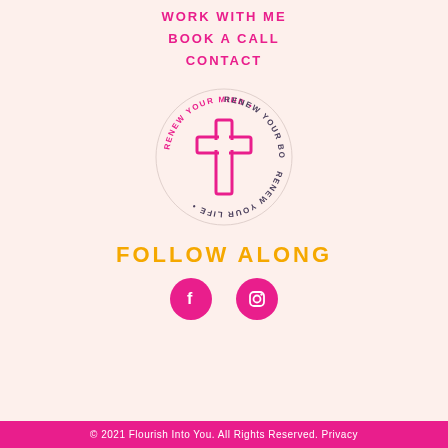WORK WITH ME
BOOK A CALL
CONTACT
[Figure (logo): Circular logo with a pink cross in the center and text around the ring reading: RENEW YOUR MIND • RENEW YOUR BODY • RENEW YOUR LIFE •]
FOLLOW ALONG
[Figure (illustration): Two pink circular social media icons: Facebook (f) and Instagram (camera)]
© 2021 Flourish Into You. All Rights Reserved. Privacy